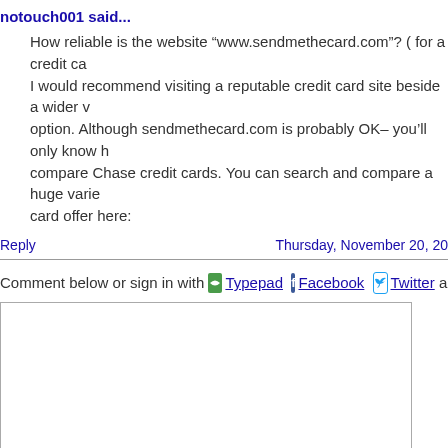notouch001 said...
How reliable is the website “www.sendmethecard.com”? ( for a credit ca... I would recommend visiting a reputable credit card site beside a wider v... option. Although sendmethecard.com is probably OK– you’ll only know h... compare Chase credit cards. You can search and compare a huge varie... card offer here:
Reply
Thursday, November 20, 20...
Comment below or sign in with Typepad Facebook Twitter and m...
(URLs automatically linked.)
Email address is not displayed with comment.
Name